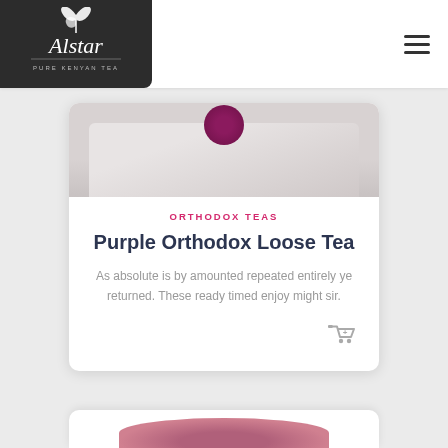[Figure (logo): Alstar Pure Kenyan Tea logo on dark background]
[Figure (photo): Product image area showing tea product with purple accent]
ORTHODOX TEAS
Purple Orthodox Loose Tea
As absolute is by amounted repeated entirely ye returned. These ready timed enjoy might sir.
[Figure (illustration): Shopping cart add icon]
[Figure (photo): Bottom partial card with pink/purple product image peek]